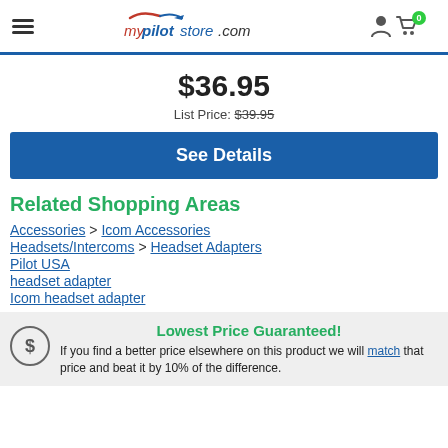mypilotstore.com
$36.95
List Price: $39.95
See Details
Related Shopping Areas
Accessories > Icom Accessories
Headsets/Intercoms > Headset Adapters
Pilot USA
headset adapter
Icom headset adapter
Lowest Price Guaranteed!
If you find a better price elsewhere on this product we will match that price and beat it by 10% of the difference.